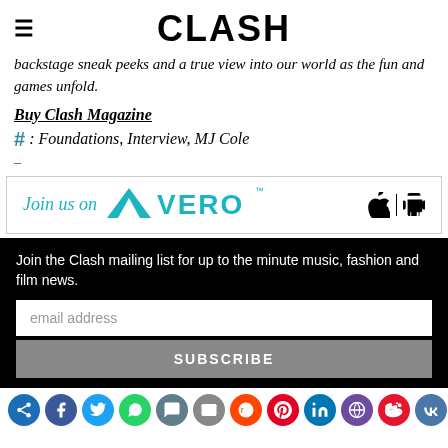CLASH
backstage sneak peeks and a true view into our world as the fun and games unfold.
Buy Clash Magazine
#: Foundations, Interview, MJ Cole
[Figure (logo): Join us on VERO banner with Apple and Android icons]
Join the Clash mailing list for up to the minute music, fashion and film news.
[Figure (infographic): Row of social media icons at the bottom]